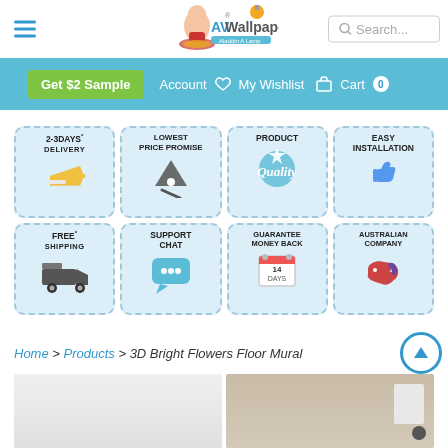[Figure (screenshot): Website header with hamburger menu icon, AV Wallpaper logo with character illustration, and search box]
[Figure (screenshot): Navigation bar with Get $2 Sample green button, Account, My Wishlist heart icon, Cart with badge 0]
[Figure (infographic): 8 feature badges: 2-3 Days Delivery (airplane icon), Lowest Price Promise (tag icon), Product Quality (quality badge), Easy Installation (thumbs up), Free Shipping (truck icon), Support Chat (chat bubble), Guarantee Money Back 14 Days (calendar icon), Australian Company (map icon)]
Home > Products > 3D Bright Flowers Floor Mural
[Figure (photo): Two product room scene photos partially visible at bottom of page]